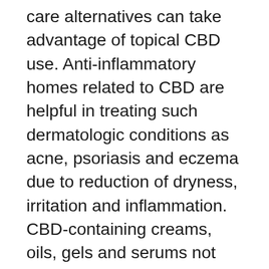care alternatives can take advantage of topical CBD use. Anti-inflammatory homes related to CBD are helpful in treating such dermatologic conditions as acne, psoriasis and eczema due to reduction of dryness, irritation and inflammation. CBD-containing creams, oils, gels and serums not just moisturize and relieve the skin however are also showing encouraging lead to relieving discomfort brought on by specific skin conditions. CBD has shown that it exerts antioxidant activity. This could place CBD oil as a treatment that repair work skin from totally free radicals, which may assist to smooth wrinkles and decrease breakouts and blemishes. In addition, CBD-containing products are rich in omega-3 and omega-6 fats, which enhance overall skin health and